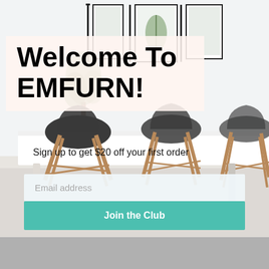[Figure (photo): A bright minimalist dining room with a white table and black Eames-style chairs with wooden legs, framed botanical prints on the wall, indoor plant in background.]
Welcome To EMFURN!
Sign up to get $20 off your first order
Email address
Join the Club